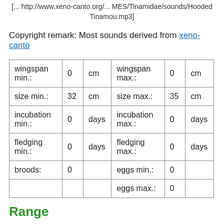[... http://www.xeno-canto.org/... MES/Tinamidae/sounds/Hooded Tinamou.mp3]
Copyright remark: Most sounds derived from xeno-canto
| wingspan min.: | 0 | cm | wingspan max.: | 0 | cm |
| size min.: | 32 | cm | size max.: | 35 | cm |
| incubation min.: | 0 | days | incubation max.: | 0 | days |
| fledging min.: | 0 | days | fledging max.: | 0 | days |
| broods: | 0 |  | eggs min.: | 0 |  |
|  |  |  | eggs max.: | 0 |  |
Range